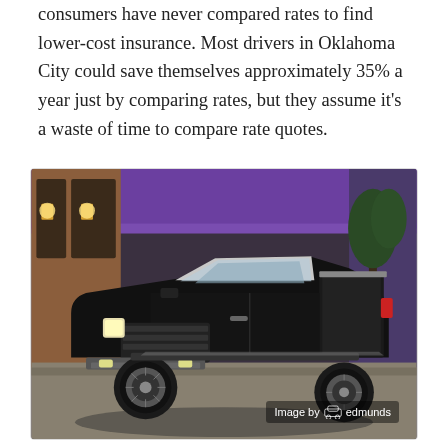consumers have never compared rates to find lower-cost insurance. Most drivers in Oklahoma City could save themselves approximately 35% a year just by comparing rates, but they assume it's a waste of time to compare rate quotes.
[Figure (photo): A black Ford Ranger pickup truck parked in front of a building with a purple awning, photographed from a front three-quarter angle. Image credited to Edmunds.]